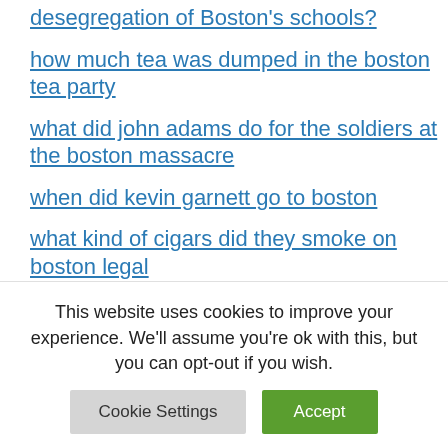desegregation of Boston's schools?
how much tea was dumped in the boston tea party
what did john adams do for the soldiers at the boston massacre
when did kevin garnett go to boston
what kind of cigars did they smoke on boston legal
boston unique experiences for a silent auction?
This website uses cookies to improve your experience. We'll assume you're ok with this, but you can opt-out if you wish.